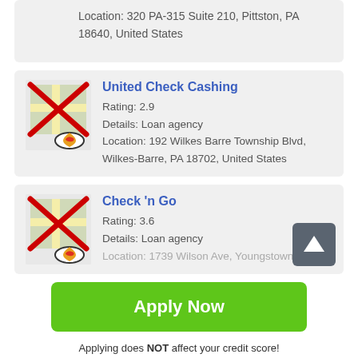Location: 320 PA-315 Suite 210, Pittston, PA 18640, United States
United Check Cashing
Rating: 2.9
Details: Loan agency
Location: 192 Wilkes Barre Township Blvd, Wilkes-Barre, PA 18702, United States
Check 'n Go
Rating: 3.6
Details: Loan agency
Location: 1739 Wilson Ave, Youngstown, OH
Apply Now
Applying does NOT affect your credit score!
No credit check to apply.